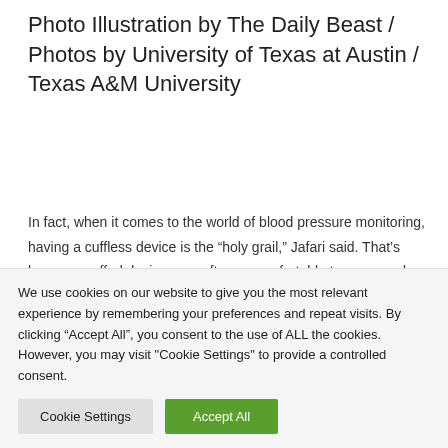Photo Illustration by The Daily Beast / Photos by University of Texas at Austin / Texas A&M University
In fact, when it comes to the world of blood pressure monitoring, having a cuffless device is the “holy grail,” Jafari said. That’s because cuffed devices are often uncomfortable to wear, and heart monitoring products like smartwatches also tend to move around the wrist too much to be able to provide accurate data.
We use cookies on our website to give you the most relevant experience by remembering your preferences and repeat visits. By clicking “Accept All”, you consent to the use of ALL the cookies. However, you may visit "Cookie Settings" to provide a controlled consent.